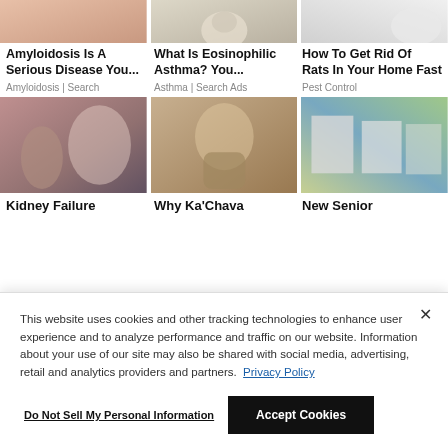[Figure (photo): Partial photo of arm/skin (Amyloidosis article)]
[Figure (photo): Partial illustration of person with stomach (Eosinophilic Asthma article)]
[Figure (photo): Partial photo of cup of liquid (How To Get Rid Of Rats article)]
Amyloidosis Is A Serious Disease You...
What Is Eosinophilic Asthma? You...
How To Get Rid Of Rats In Your Home Fast
Amyloidosis | Search
Asthma | Search Ads
Pest Control
[Figure (photo): Photo of doctor examining patient's back (Kidney Failure article)]
[Figure (photo): Photo of woman drinking from cup (Why Ka'Chava article)]
[Figure (photo): Photo of row of houses (New Senior article)]
Kidney Failure
Why Ka'Chava
New Senior
This website uses cookies and other tracking technologies to enhance user experience and to analyze performance and traffic on our website. Information about your use of our site may also be shared with social media, advertising, retail and analytics providers and partners.  Privacy Policy
Do Not Sell My Personal Information
Accept Cookies